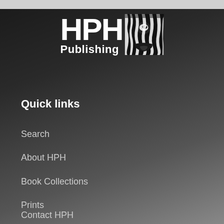[Figure (logo): HPH Publishing logo with zebra stripe graphic — bold white letters 'HPH' above 'Publishing' text, alongside a black-and-white zebra face illustration]
Quick links
Search
About HPH
Book Collections
Prints
Contact HPH